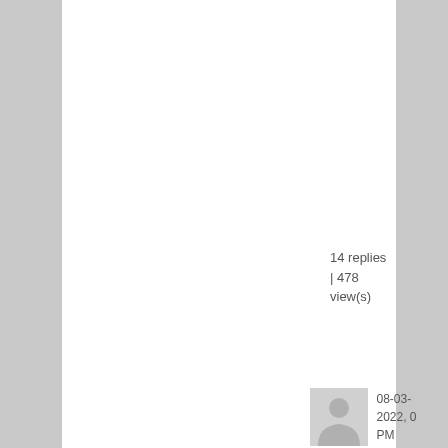14 replies | 478 view(s)
[Figure (other): User avatar placeholder icon (grey silhouette)]
08-03-2022, 0
PM